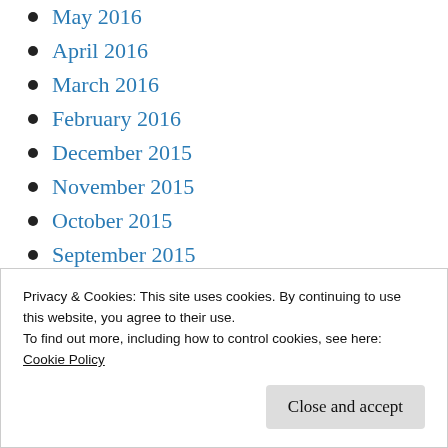May 2016
April 2016
March 2016
February 2016
December 2015
November 2015
October 2015
September 2015
August 2015
June 2011
May 2011
Privacy & Cookies: This site uses cookies. By continuing to use this website, you agree to their use.
To find out more, including how to control cookies, see here: Cookie Policy
Close and accept